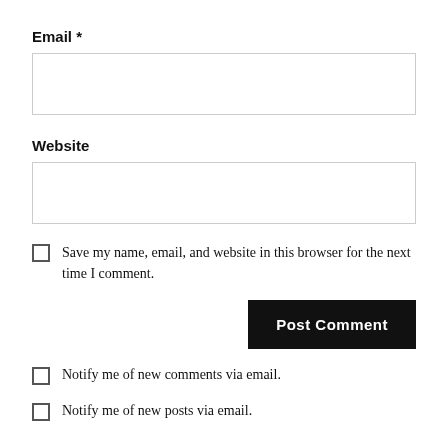Email *
[Figure (other): Empty text input field for Email]
Website
[Figure (other): Empty text input field for Website]
Save my name, email, and website in this browser for the next time I comment.
Post Comment
Notify me of new comments via email.
Notify me of new posts via email.